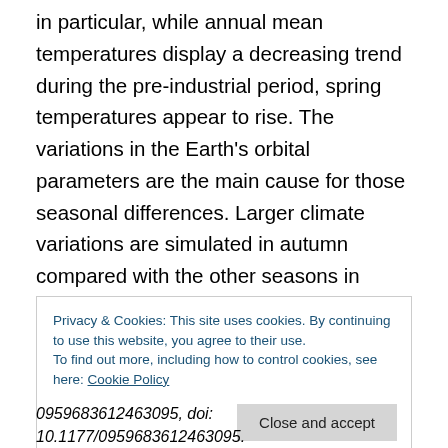in particular, while annual mean temperatures display a decreasing trend during the pre-industrial period, spring temperatures appear to rise. The variations in the Earth's orbital parameters are the main cause for those seasonal differences. Larger climate variations are simulated in autumn compared with the other seasons in response to each forcing, particularly in response to changes in greenhouse gas concentration during the industrial period and in response to land use forcing, which surprisingly has a significant impact on Arctic temperature. These contrasting changes for the different seasons also
Privacy & Cookies: This site uses cookies. By continuing to use this website, you agree to their use.
To find out more, including how to control cookies, see here: Cookie Policy
0959683612463095, doi: 10.1177/0959683612463095.